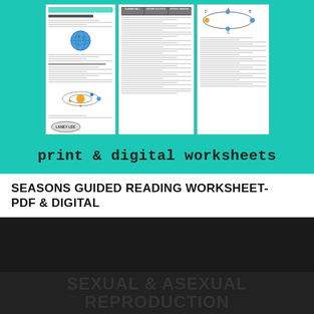[Figure (screenshot): Preview of multiple worksheet pages about seasons, shown as small page thumbnails on a teal/mint green background]
print & digital worksheets
SEASONS GUIDED READING WORKSHEET- PDF & DIGITAL
$3.00
This site uses cookies. By continuing to browse the site, you are agreeing to our use of cookies.
OK
SEXUAL & ASEXUAL REPRODUCTION